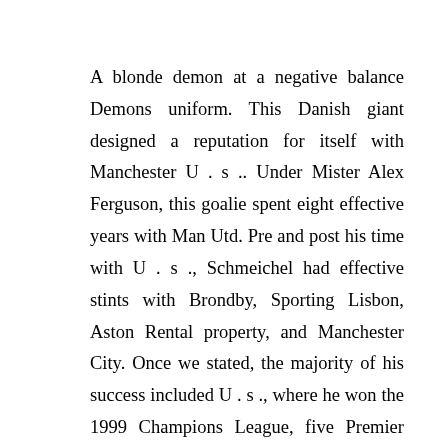A blonde demon at a negative balance Demons uniform. This Danish giant designed a reputation for itself with Manchester U . s .. Under Mister Alex Ferguson, this goalie spent eight effective years with Man Utd. Pre and post his time with U . s ., Schmeichel had effective stints with Brondby, Sporting Lisbon, Aston Rental property, and Manchester City. Once we stated, the majority of his success included U . s ., where he won the 1999 Champions League, five Premier League titles, and three FA Cups. Around the worldwide level, he symbolized Denmark with 129 caps.
In 1992 he won the ECU Championship using the national team. For that clubs in the above list, he accrued over 700 appearances. Throughout his tenure within the Premier League, he was able to keep your clean sheet in 42% of games he performed. Throughout his 24 years lengthy career, he acquired a status like a fierce fighter and is the best GK of occasions by